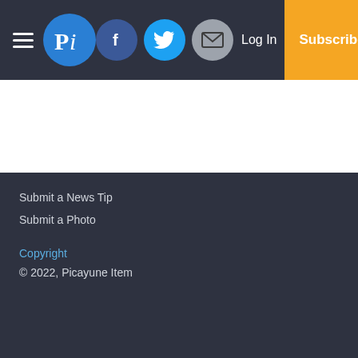Picayune Item navigation bar with hamburger menu, logo (Pi), Facebook, Twitter, Email icons, Log In link, and Subscribe button
Submit a News Tip
Submit a Photo
Copyright
© 2022, Picayune Item